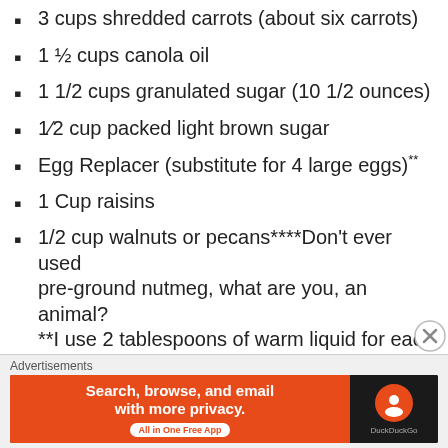3 cups shredded carrots (about six carrots)
1 ½ cups canola oil
1 1/2 cups granulated sugar (10 1/2 ounces)
1⁄2 cup packed light brown sugar
Egg Replacer (substitute for 4 large eggs)**
1 Cup raisins
1/2 cup walnuts or pecans****Don't ever used pre-ground nutmeg, what are you, an animal? **I use 2 tablespoons of warm liquid for each sifted tablespoon of egg replacer. I also add 1 tablespoon of vanilla extract.   After you mix
[Figure (screenshot): DuckDuckGo advertisement banner: orange background with text 'Search, browse, and email with more privacy. All in One Free App' and DuckDuckGo logo on dark background]